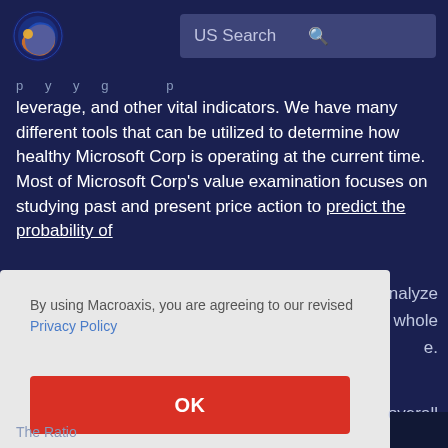US Search
leverage, and other vital indicators. We have many different tools that can be utilized to determine how healthy Microsoft Corp is operating at the current time. Most of Microsoft Corp's value examination focuses on studying past and present price action to predict the probability of
nalyze whole e.
By using Macroaxis, you are agreeing to our revised Privacy Policy
OK
overall
The Ratio